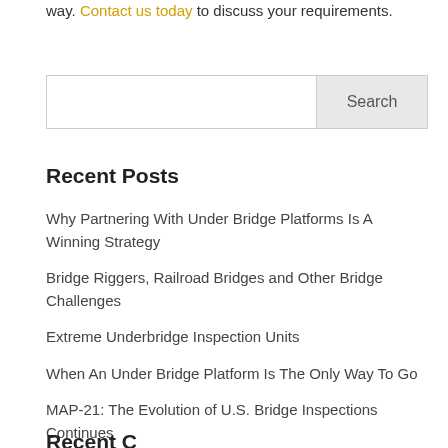way. Contact us today to discuss your requirements.
Search
Recent Posts
Why Partnering With Under Bridge Platforms Is A Winning Strategy
Bridge Riggers, Railroad Bridges and Other Bridge Challenges
Extreme Underbridge Inspection Units
When An Under Bridge Platform Is The Only Way To Go
MAP-21: The Evolution of U.S. Bridge Inspections Continues
Recent Categories